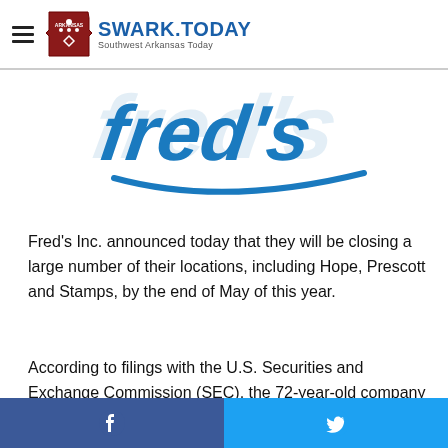SWARK.TODAY — Southwest Arkansas Today
[Figure (logo): Fred's Inc. logo in blue cursive lettering with a swoosh underline]
Fred's Inc. announced today that they will be closing a large number of their locations, including Hope, Prescott and Stamps, by the end of May of this year.
According to filings with the U.S. Securities and Exchange Commission (SEC), the 72-year-old company will be closing 159 of its 557 stores throughout the southeastern U.S. Stores chose are said by Fred's to be under-performing and have
Facebook share | Twitter share